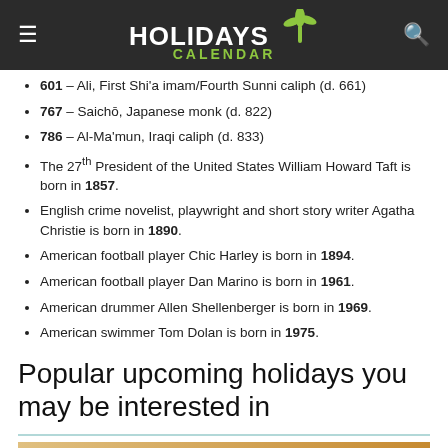HOLIDAYS CALENDAR
601 – Ali, First Shi'a imam/Fourth Sunni caliph (d. 661)
767 – Saichō, Japanese monk (d. 822)
786 – Al-Ma'mun, Iraqi caliph (d. 833)
The 27th President of the United States William Howard Taft is born in 1857.
English crime novelist, playwright and short story writer Agatha Christie is born in 1890.
American football player Chic Harley is born in 1894.
American football player Dan Marino is born in 1961.
American drummer Allen Shellenberger is born in 1969.
American swimmer Tom Dolan is born in 1975.
Popular upcoming holidays you may be interested in